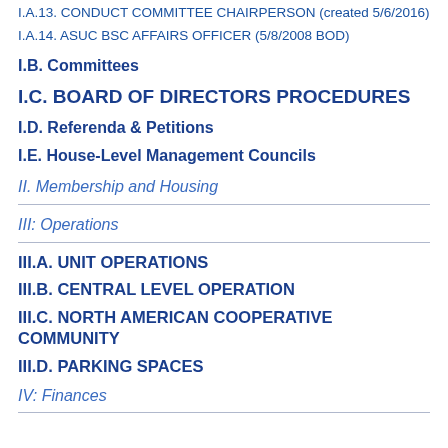I.A.13. CONDUCT COMMITTEE CHAIRPERSON (created 5/6/2016)
I.A.14. ASUC BSC AFFAIRS OFFICER (5/8/2008 BOD)
I.B. Committees
I.C. BOARD OF DIRECTORS PROCEDURES
I.D. Referenda & Petitions
I.E. House-Level Management Councils
II. Membership and Housing
III: Operations
III.A. UNIT OPERATIONS
III.B. CENTRAL LEVEL OPERATION
III.C. NORTH AMERICAN COOPERATIVE COMMUNITY
III.D. PARKING SPACES
IV: Finances